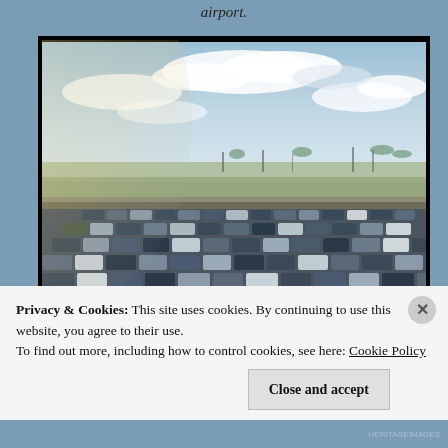airport.
[Figure (photo): Vintage aerial/elevated photograph of a large car park filled with hundreds of 1950s-era automobiles at an airport. Blue sky with clouds in the background, flat airfield terrain visible in the mid-ground.]
Privacy & Cookies: This site uses cookies. By continuing to use this website, you agree to their use.
To find out more, including how to control cookies, see here: Cookie Policy
Close and accept